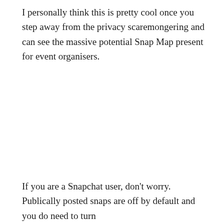I personally think this is pretty cool once you step away from the privacy scaremongering and can see the massive potential Snap Map present for event organisers.
If you are a Snapchat user, don't worry. Publically posted snaps are off by default and you do need to turn